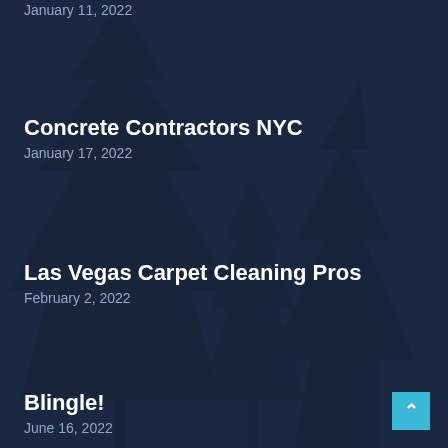January 11, 2022
Concrete Contractors NYC
January 17, 2022
Las Vegas Carpet Cleaning Pros
February 2, 2022
Blingle!
June 16, 2022
© Mega Biz Lists
Made with ❤ Citation Vault